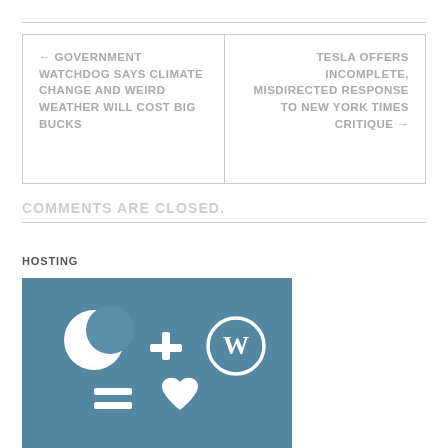← GOVERNMENT WATCHDOG SAYS CLIMATE CHANGE AND WEIRD WEATHER WILL COST BIG BUCKS
TESLA OFFERS INCOMPLETE, MISDIRECTED RESPONSE TO NEW YORK TIMES CRITIQUE →
COMMENTS ARE CLOSED.
HOSTING
[Figure (illustration): Hosting promotional image showing a crescent/moon icon plus WordPress logo equals a heart, overlaid on a blurred medical/hands background image. Icons are white on a blue-grey tinted background.]